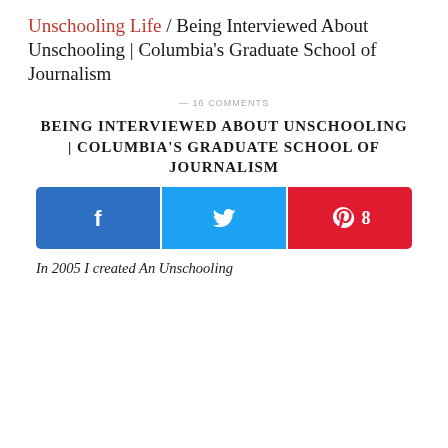Unschooling Life / Being Interviewed About Unschooling | Columbia's Graduate School of Journalism
— 16 COMMENTS
BEING INTERVIEWED ABOUT UNSCHOOLING | COLUMBIA'S GRADUATE SCHOOL OF JOURNALISM
[Figure (infographic): Social sharing bar with Facebook (blue), Twitter (light blue), and Pinterest (red) buttons. Pinterest shows count of 8.]
In 2005 I created An Unschooling